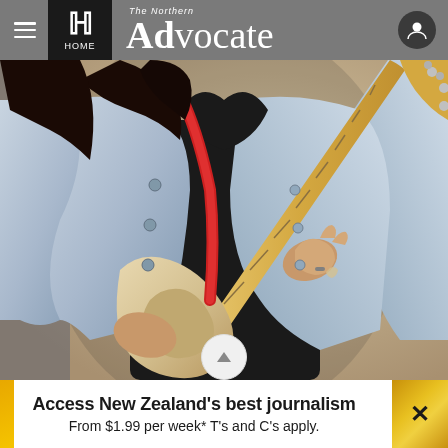The Northern Advocate — HOME
[Figure (photo): A person in a light blue denim jacket playing an electric guitar with a red strap. The guitar appears to be a Fender Telecaster-style with a maple neck. The player has long dark hair. The background is blurred beige/tan.]
Access New Zealand's best journalism
From $1.99 per week* T's and C's apply.